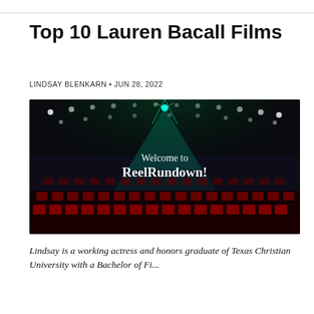Top 10 Lauren Bacall Films
LINDSAY BLENKARN • JUN 28, 2022
[Figure (photo): Dark cinema interior with spotlight and stage lighting from above, rows of red seats visible, with overlay text 'Welcome to ReelRundown!']
Lindsay is a working actress and honors graduate of Texas Christian University with a Bachelor of Fi...